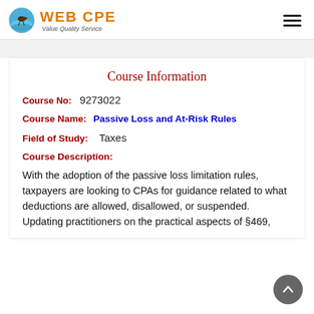WEB CPE Value Quality Service
Course Information
Course No:  9273022
Course Name:  Passive Loss and At-Risk Rules
Field of Study:    Taxes
Course Description:
With the adoption of the passive loss limitation rules, taxpayers are looking to CPAs for guidance related to what deductions are allowed, disallowed, or suspended. Updating practitioners on the practical aspects of §469,